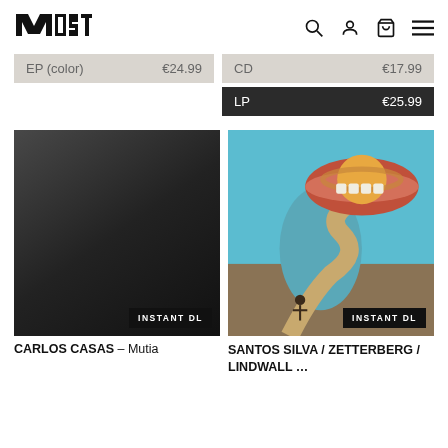MOST
EP (color)   €24.99
CD   €17.99
LP   €25.99
[Figure (photo): Dark gradient album cover with INSTANT DL badge]
[Figure (photo): Surrealist album cover with mouth, Saturn planet, and desert landscape with INSTANT DL badge]
CARLOS CASAS – Mutia
SANTOS SILVA / ZETTERBERG / LINDWALL ...